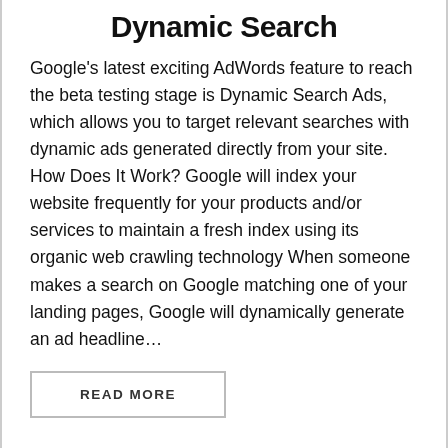Dynamic Search
Google's latest exciting AdWords feature to reach the beta testing stage is Dynamic Search Ads, which allows you to target relevant searches with dynamic ads generated directly from your site. How Does It Work? Google will index your website frequently for your products and/or services to maintain a fresh index using its organic web crawling technology When someone makes a search on Google matching one of your landing pages, Google will dynamically generate an ad headline…
READ MORE